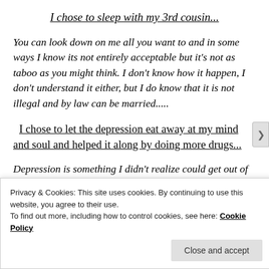I chose to sleep with my 3rd cousin...
You can look down on me all you want to and in some ways I know its not entirely acceptable but it's not as taboo as you might think. I don't know how it happen, I don't understand it either, but I do know that it is not illegal and by law can be married.....
I chose to let the depression eat away at my mind and soul and helped it along by doing more drugs...
Depression is something I didn't realize could get out of
Privacy & Cookies: This site uses cookies. By continuing to use this website, you agree to their use.
To find out more, including how to control cookies, see here: Cookie Policy